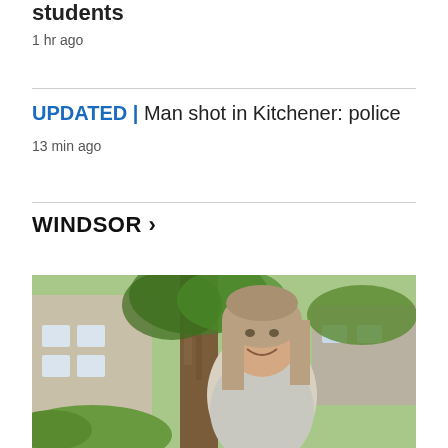students
1 hr ago
UPDATED | Man shot in Kitchener: police
13 min ago
WINDSOR >
[Figure (photo): Woman with long blonde hair smiling outdoors in front of a large tree and a brick house with green foliage in the background]